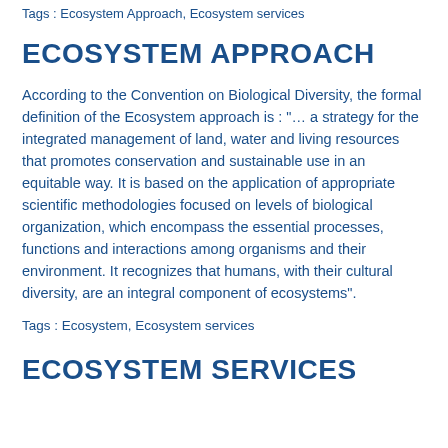Tags : Ecosystem Approach, Ecosystem services
ECOSYSTEM APPROACH
According to the Convention on Biological Diversity, the formal definition of the Ecosystem approach is : "… a strategy for the integrated management of land, water and living resources that promotes conservation and sustainable use in an equitable way. It is based on the application of appropriate scientific methodologies focused on levels of biological organization, which encompass the essential processes, functions and interactions among organisms and their environment. It recognizes that humans, with their cultural diversity, are an integral component of ecosystems".
Tags : Ecosystem, Ecosystem services
ECOSYSTEM SERVICES